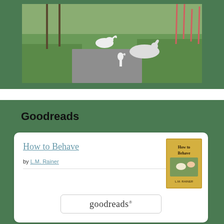[Figure (photo): Outdoor photo showing swans and egrets walking along a paved pathway surrounded by green grass]
Goodreads
[Figure (screenshot): Goodreads widget card showing book 'How to Behave' by L.M. Rainer with book cover thumbnail and Goodreads button]